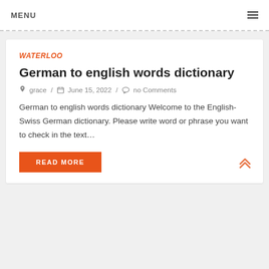MENU
WATERLOO
German to english words dictionary
grace / June 15, 2022 / no Comments
German to english words dictionary Welcome to the English-Swiss German dictionary. Please write word or phrase you want to check in the text…
READ MORE